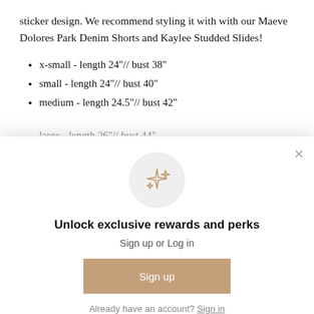sticker design. We recommend styling it with with our Maeve Dolores Park Denim Shorts and Kaylee Studded Slides!
x-small - length 24"// bust 38"
small - length 24"// bust 40"
medium - length 24.5"// bust 42"
large - length 26"// bust 44"
[Figure (illustration): Sparkle/stars decorative icon in tan/beige color inside a light gray circle]
Unlock exclusive rewards and perks
Sign up or Log in
Sign up
Already have an account? Sign in